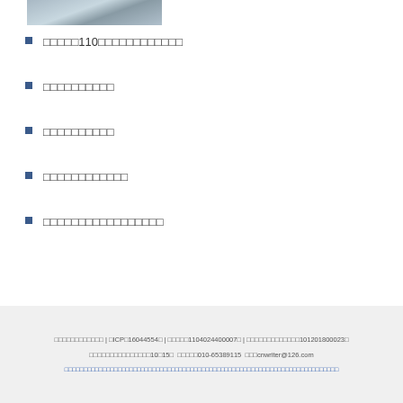[Figure (photo): Small photo/image at top left, appears to be a textured surface or landscape]
□□□□□110□□□□□□□□□□□□
□□□□□□□□□□
□□□□□□□□□□
□□□□□□□□□□□□
□□□□□□□□□□□□□□□□□
□□□□□□□□□□□□ | □ICP□16044554□ | □□□□□1104024400007□ | □□□□□□□□□□□□□101201800023□
□□□□□□□□□□□□□□□10□15□ □□□□□010-65389115 □□□cnwriter@126.com
□□□□□□□□□□□□□□□□□□□□□□□□□□□□□□□□□□□□□□□□□□□□□□□□□□□□□□□□□□□□□□□□□□□□□□□□